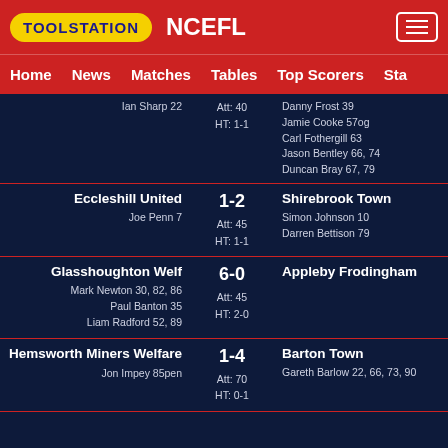TOOLSTATION NCEFL
Home  News  Matches  Tables  Top Scorers  Sta
| Home Team | Score | Away Team |
| --- | --- | --- |
| (cont.) Ian Sharp 22 | Att: 40 / HT: 1-1 | Danny Frost 39 / Jamie Cooke 57og / Carl Fothergill 63 / Jason Bentley 66, 74 / Duncan Bray 67, 79 |
| Eccleshill United / Joe Penn 7 | 1-2 / Att: 45 / HT: 1-1 | Shirebrook Town / Simon Johnson 10 / Darren Bettison 79 |
| Glasshoughton Welf / Mark Newton 30, 82, 86 / Paul Banton 35 / Liam Radford 52, 89 | 6-0 / Att: 45 / HT: 2-0 | Appleby Frodingham |
| Hemsworth Miners Welfare / Jon Impey 85pen | 1-4 / Att: 70 / HT: 0-1 | Barton Town / Gareth Barlow 22, 66, 73, 90 |